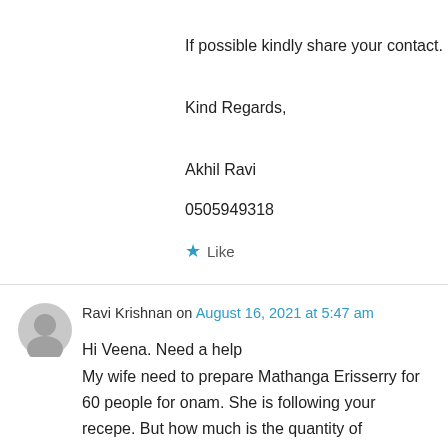If possible kindly share your contact.
Kind Regards,
Akhil Ravi
0505949318
★ Like
Ravi Krishnan on August 16, 2021 at 5:47 am
Hi Veena. Need a help
My wife need to prepare Mathanga Erisserry for 60 people for onam. She is following your recepe. But how much is the quantity of mathanga not mentioned. Please advise the quantity of mathanga required for this recepe for60 people